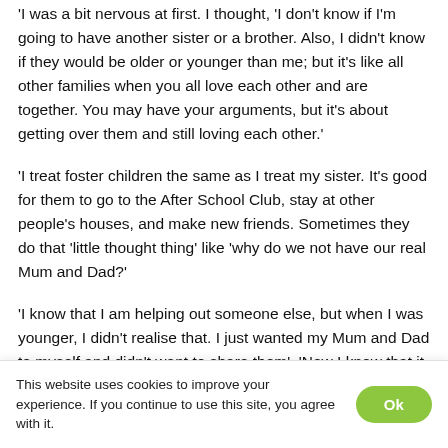'I was a bit nervous at first. I thought, 'I don't know if I'm going to have another sister or a brother. Also, I didn't know if they would be older or younger than me; but it's like all other families when you all love each other and are together. You may have your arguments, but it's about getting over them and still loving each other.'
'I treat foster children the same as I treat my sister. It's good for them to go to the After School Club, stay at other people's houses, and make new friends. Sometimes they do that 'little thought thing' like 'why do we not have our real Mum and Dad?'
'I know that I am helping out someone else, but when I was younger, I didn't realise that. I just wanted my Mum and Dad to myself and didn't want to share them'. 'Now I know that it
This website uses cookies to improve your experience. If you continue to use this site, you agree with it.